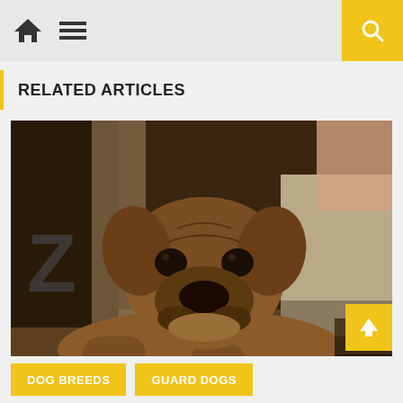Navigation header with home icon, menu icon, and search button
RELATED ARTICLES
[Figure (photo): A large brown mastiff dog lying on the floor indoors, looking directly at the camera with a calm expression. A person's legs and a bed or couch are visible in the background.]
DOG BREEDS
GUARD DOGS